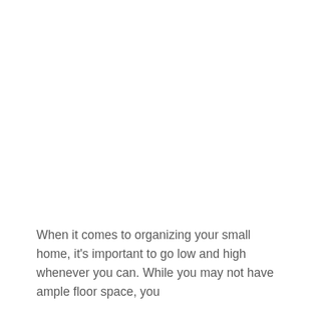When it comes to organizing your small home, it's important to go low and high whenever you can. While you may not have ample floor space, you